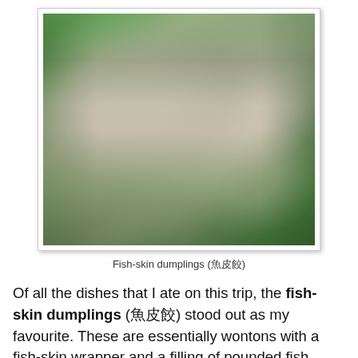[Figure (photo): A bowl of fish-skin dumplings served in broth with green leafy vegetables, with chopsticks resting on the white bowl]
Fish-skin dumplings (魚皮餃)
Of all the dishes that I ate on this trip, the fish-skin dumplings (魚皮餃) stood out as my favourite. These are essentially wontons with a fish-skin wrapper and a filling of pounded fish meat. I also liked the broth (non-fishy) and the vegetable that it was served with. Apologies, but I've forgotten the name of this veg that bears some similarities to water spinach or morning glory (蕹菜 ong choi).
[Figure (photo): Partial view of another dish, cropped at bottom of page]